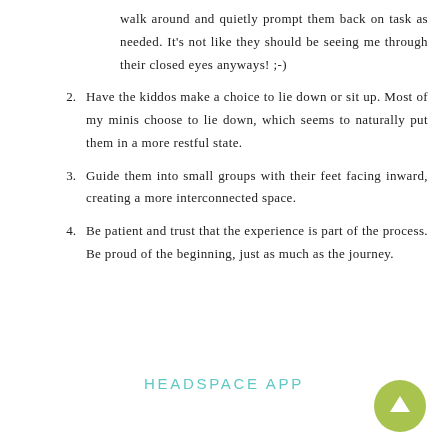walk around and quietly prompt them back on task as needed. It's not like they should be seeing me through their closed eyes anyways! ;-)
2. Have the kiddos make a choice to lie down or sit up. Most of my minis choose to lie down, which seems to naturally put them in a more restful state.
3. Guide them into small groups with their feet facing inward, creating a more interconnected space.
4. Be patient and trust that the experience is part of the process. Be proud of the beginning, just as much as the journey.
HEADSPACE APP